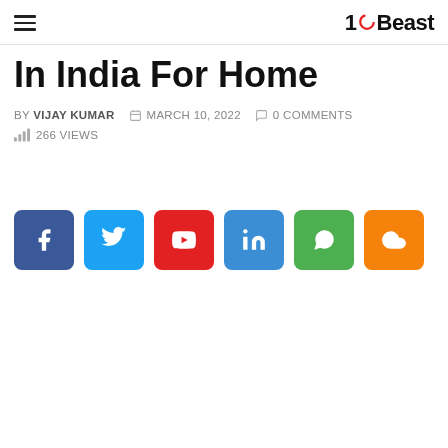10Beast
In India For Home
BY VIJAY KUMAR   MARCH 10, 2022   0 COMMENTS
266 VIEWS
[Figure (infographic): Social share buttons: Facebook, Twitter, YouTube, LinkedIn, WhatsApp, Cloud/share]